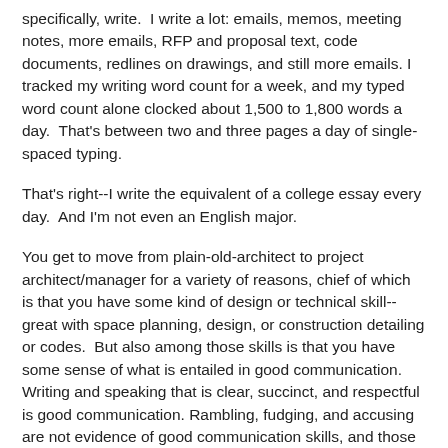specifically, write.  I write a lot: emails, memos, meeting notes, more emails, RFP and proposal text, code documents, redlines on drawings, and still more emails. I tracked my writing word count for a week, and my typed word count alone clocked about 1,500 to 1,800 words a day.  That's between two and three pages a day of single-spaced typing.
That's right--I write the equivalent of a college essay every day.  And I'm not even an English major.
You get to move from plain-old-architect to project architect/manager for a variety of reasons, chief of which is that you have some kind of design or technical skill--great with space planning, design, or construction detailing or codes.  But also among those skills is that you have some sense of what is entailed in good communication.  Writing and speaking that is clear, succinct, and respectful is good communication. Rambling, fudging, and accusing are not evidence of good communication skills, and those traits in writing and speaking can hold back a brilliant designer or someone with strong exterior envelope design and detailing